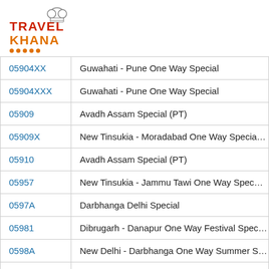[Figure (logo): TravelKhana logo with chef hat icon and orange dots]
| Code | Train Name |
| --- | --- |
| 05904XX | Guwahati - Pune One Way Special |
| 05904XXX | Guwahati - Pune One Way Special |
| 05909 | Avadh Assam Special (PT) |
| 05909X | New Tinsukia - Moradabad One Way Specia… |
| 05910 | Avadh Assam Special (PT) |
| 05957 | New Tinsukia - Jammu Tawi One Way Spec… |
| 0597A | Darbhanga Delhi Special |
| 05981 | Dibrugarh - Danapur One Way Festival Spec… |
| 0598A | New Delhi - Darbhanga One Way Summer S… |
| 06004x | Mangaluru Central - Muzaffarpur One Way … |